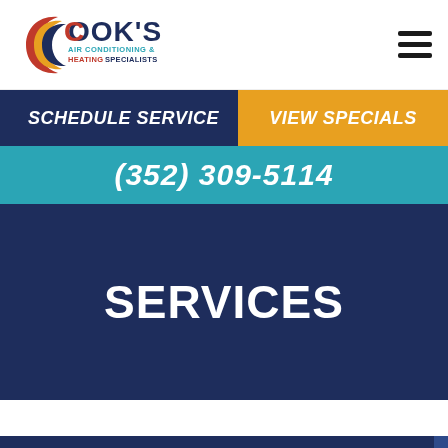[Figure (logo): Cook's Air Conditioning & Heating Specialists logo with red, yellow, blue swoosh emblem and bold navy text]
SCHEDULE SERVICE | VIEW SPECIALS
(352) 309-5114
SERVICES
RESIDENTIAL HEATING AND AIR CONDITIONING